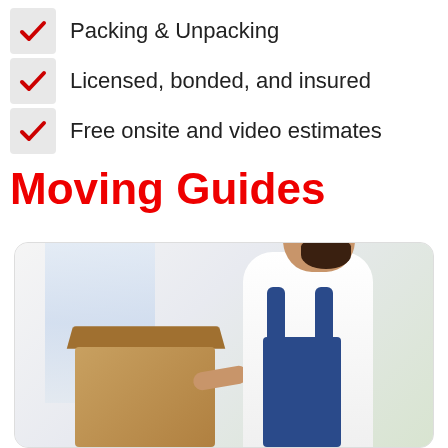Packing & Unpacking
Licensed, bonded, and insured
Free onsite and video estimates
Moving Guides
[Figure (photo): A man in work overalls carrying a cardboard box, viewed from the side in a bright room]